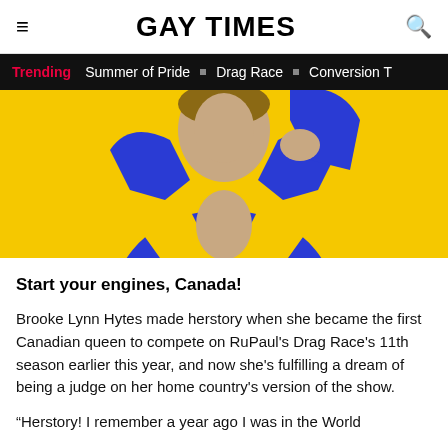GAY TIMES
Trending  Summer of Pride  Drag Race  Conversion T
[Figure (photo): Person wearing an open royal blue satin blazer jacket against a bright yellow background, photographed from chest up]
Start your engines, Canada!
Brooke Lynn Hytes made herstory when she became the first Canadian queen to compete on RuPaul's Drag Race's 11th season earlier this year, and now she's fulfilling a dream of being a judge on her home country's version of the show.
“Herstory! I remember a year ago I was in the World